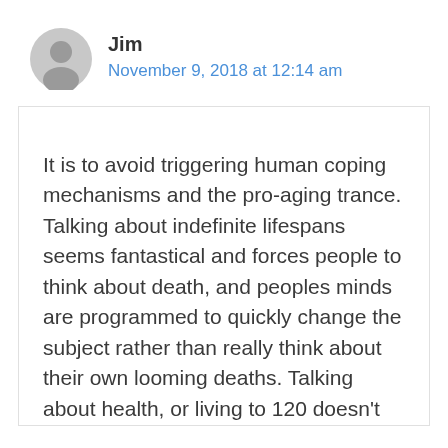Jim
November 9, 2018 at 12:14 am
It is to avoid triggering human coping mechanisms and the pro-aging trance. Talking about indefinite lifespans seems fantastical and forces people to think about death, and peoples minds are programmed to quickly change the subject rather than really think about their own looming deaths. Talking about health, or living to 120 doesn't seem to trigger the coping psychological